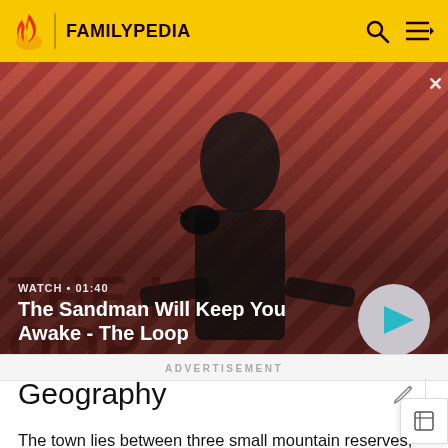FAMILYPEDIA
[Figure (screenshot): Video thumbnail showing a man in dark clothing with a raven on his shoulder, against a red striped background. Text reads: WATCH • 01:40 / The Sandman Will Keep You Awake - The Loop. Play button visible on right.]
ADVERTISEMENT
Geography
The town lies between three small mountain reserves, Mount Alexandra[3] 780 metres (2,560 ft) above sea level